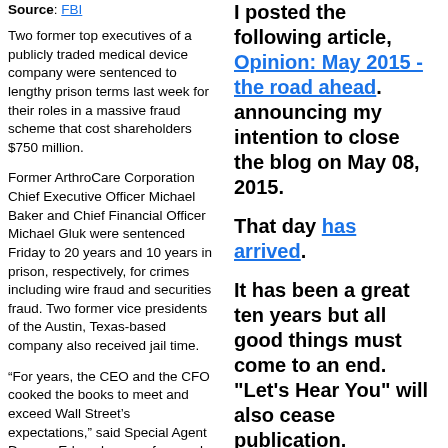Source: FBI
Two former top executives of a publicly traded medical device company were sentenced to lengthy prison terms last week for their roles in a massive fraud scheme that cost shareholders $750 million.
Former ArthroCare Corporation Chief Executive Officer Michael Baker and Chief Financial Officer Michael Gluk were sentenced Friday to 20 years and 10 years in prison, respectively, for crimes including wire fraud and securities fraud. Two former vice presidents of the Austin, Texas-based company also received jail time.
“For years, the CEO and the CFO cooked the books to meet and exceed Wall Street’s expectations,” said Special Agent Duncan Edwards, one of several agents who worked the investigation out of our San Antonio Division. “It was only a matter of time before their crimes caught up to them.”
Baker and Gluk were engaged in a sophisticated fraud scheme known in business circles as channel stuffing. “You get your
I posted the following article, Opinion: May 2015 - the road ahead. announcing my intention to close the blog on May 08, 2015.
That day has arrived.
It has been a great ten years but all good things must come to an end. "Let's Hear You" will also cease publication.